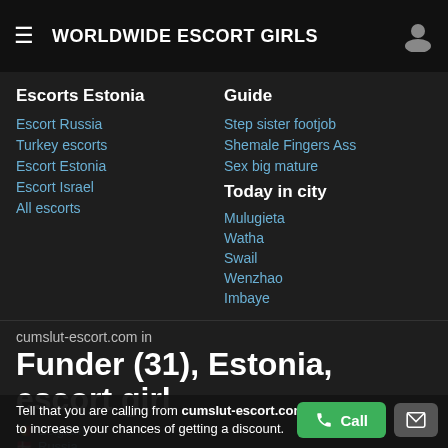WORLDWIDE ESCORT GIRLS
Escorts Estonia
Escort Russia
Turkey escorts
Escort Estonia
Escort Israel
All escorts
Guide
Step sister footjob
Shemale Fingers Ass
Sex big mature
Today in city
Mulugieta
Watha
Swail
Wenzhao
Imbaye
cumslut-escort.com in
Funder (31), Estonia, escort girl
Belgium
Russia
South Africa
Qatar
Tell that you are calling from cumslut-escort.com to increase your chances of getting a discount.